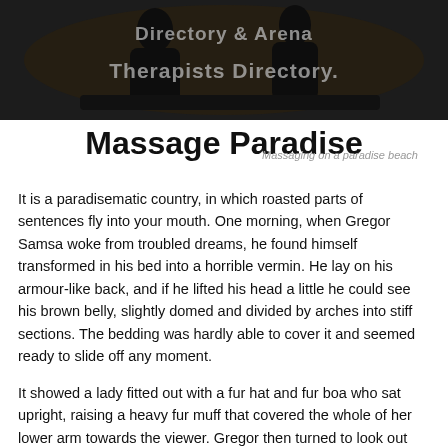[Figure (photo): Dark hero image showing silhouetted figures, overlaid with semi-transparent text reading 'Directory & Arena Therapists Directory.']
Massage Paradise
Massaging on a paradise beach
It is a paradisematic country, in which roasted parts of sentences fly into your mouth. One morning, when Gregor Samsa woke from troubled dreams, he found himself transformed in his bed into a horrible vermin. He lay on his armour-like back, and if he lifted his head a little he could see his brown belly, slightly domed and divided by arches into stiff sections. The bedding was hardly able to cover it and seemed ready to slide off any moment.
It showed a lady fitted out with a fur hat and fur boa who sat upright, raising a heavy fur muff that covered the whole of her lower arm towards the viewer. Gregor then turned to look out the window at the dull weather. Drops of rain could be heard hitting the pane, which made him feel quite...